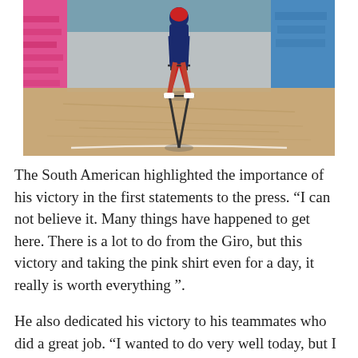[Figure (photo): A cyclist in a dark blue and red jersey rides a road bike directly toward the camera on a dusty dirt/gravel velodrome-style track. Pink and blue sponsor banners line the sides. The background shows more banners and crowd barriers.]
The South American highlighted the importance of his victory in the first statements to the press. “I can not believe it. Many things have happened to get here. There is a lot to do from the Giro, but this victory and taking the pink shirt even for a day, it really is worth everything”.
He also dedicated his victory to his teammates who did a great job. “I wanted to do very well today, but I didn’t know if I could go through the stage. All this is thanks to my colleagues, they had a lot of confidence